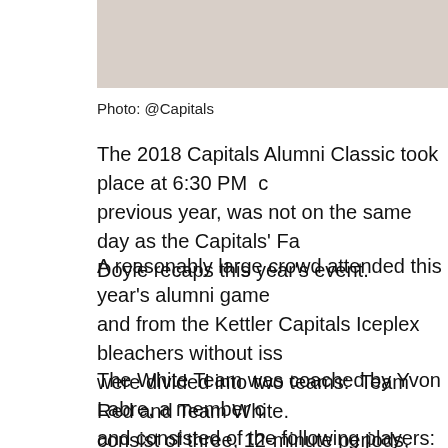[Figure (photo): Partial photo at top of page, cropped, showing a light-toned image background]
Photo: @Capitals
The 2018 Capitals Alumni Classic took place at 6:30 PM c previous year, was not on the same day as the Capitals' Fa Doyle recaps this year's event.
A reasonably large crowd attended this year's alumni game and from the Kettler Capitals Iceplex bleachers without iss were divided into two teams: Team Red and Team White. consist of three, 12-minute periods, with two, 15-minute in
The White Team was coached by Yvon Labre, a member c and consisted of the following players: Sylvain Côté, Paul I Pettinger, Dmitri Khristich, Kelly Miller, Alan May, Bryan He The Red Team was coached by former Capitals goalie, O following players: Brent Johnson, Ken Sabourin, Errol Raus Bondra, Mike Knuble, John Druce, and Frederic Cassivi in g